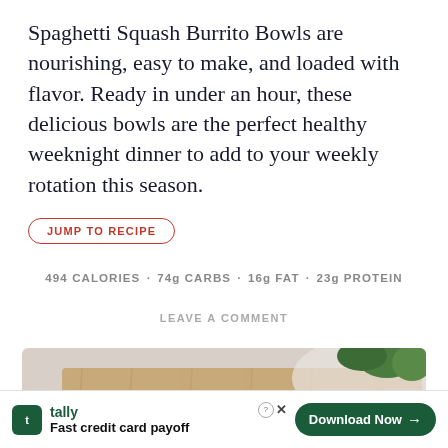Spaghetti Squash Burrito Bowls are nourishing, easy to make, and loaded with flavor. Ready in under an hour, these delicious bowls are the perfect healthy weeknight dinner to add to your weekly rotation this season.
JUMP TO RECIPE
494 CALORIES · 74g CARBS · 16g FAT · 23g PROTEIN
LEAVE A COMMENT
[Figure (photo): Overhead photo of two spaghetti squash burrito bowls on a wooden cutting board, topped with cheese, beans, tomatoes, and fresh cilantro.]
tally Fast credit card payoff  Download Now →